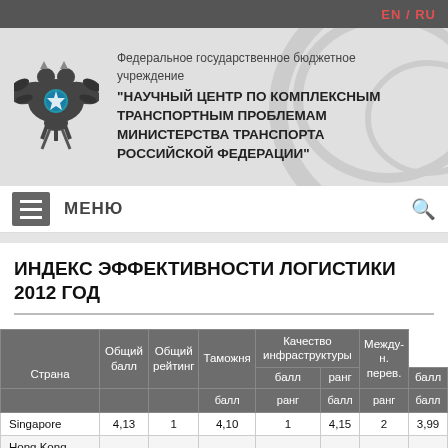EN / RU
[Figure (logo): Russian Federation emblem and organization header banner: Федеральное государственное бюджетное учреждение "НАУЧНЫЙ ЦЕНТР ПО КОМПЛЕКСНЫМ ТРАНСПОРТНЫМ ПРОБЛЕМАМ МИНИСТЕРСТВА ТРАНСПОРТА РОССИЙСКОЙ ФЕДЕРАЦИИ"]
ИНДЕКС ЭФФЕКТИВНОСТИ ЛОГИСТИКИ 2012 ГОД
| Страна | Общий балл | Общий рейтинг | Таможня балл | Таможня ранг | Качество инфраструктуры балл | Качество инфраструктуры ранг | Международн. перев. балл |
| --- | --- | --- | --- | --- | --- | --- | --- |
| Singapore | 4,13 | 1 | 4,10 | 1 | 4,15 | 2 | 3,99 |
| Hong Kong | 4,12 | 2 | 3,97 | 3 | 4,12 | 7 | 4,18 |